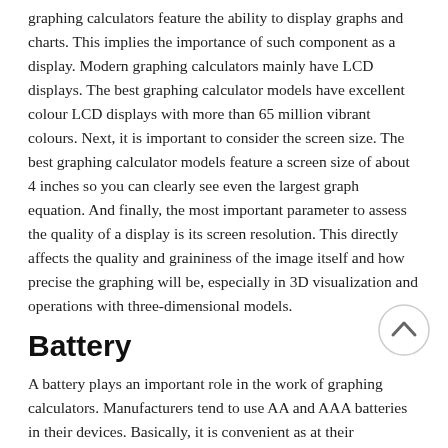graphing calculators feature the ability to display graphs and charts. This implies the importance of such component as a display. Modern graphing calculators mainly have LCD displays. The best graphing calculator models have excellent colour LCD displays with more than 65 million vibrant colours. Next, it is important to consider the screen size. The best graphing calculator models feature a screen size of about 4 inches so you can clearly see even the largest graph equation. And finally, the most important parameter to assess the quality of a display is its screen resolution. This directly affects the quality and graininess of the image itself and how precise the graphing will be, especially in 3D visualization and operations with three-dimensional models.
Battery
A battery plays an important role in the work of graphing calculators. Manufacturers tend to use AA and AAA batteries in their devices. Basically, it is convenient as at their discharge, you can simply replace the batteries. On average, these batteries will be enough for about 140 hours of autonomous work. But, many companies have developed their own types of batteries that can be recharged when needed. Such built-in rechargeable batteries can last up to two weeks under normal use of the calculator.
SOURCES: